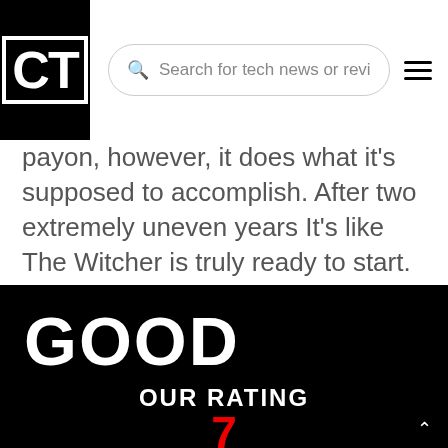CT — Search for tech news or revi
payon, however, it does what it's supposed to accomplish. After two extremely uneven years It's like The Witcher is truly ready to start.
GOOD
The Witcher is finally able to get where it needs to go as Season 2 comes to a close.
OUR RATING
7